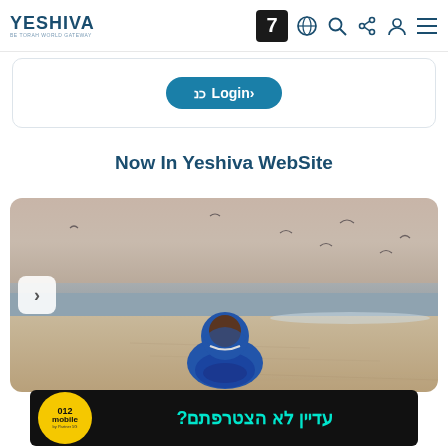YESHIVA — navigation bar with logo, channel 7 badge, globe, search, share, user, menu icons
[Figure (screenshot): Login button area inside a rounded rectangle border with a teal Login button with Hebrew text]
Now In Yeshiva WebSite
[Figure (photo): A child in a blue hoodie sitting on a sandy beach facing the sea, with birds flying in the hazy sky. A navigation arrow on the left side.]
[Figure (screenshot): 012 mobile by Partner 5G advertisement banner in black with yellow circular logo and teal Hebrew text reading: עדיין לא הצטרפתם?]